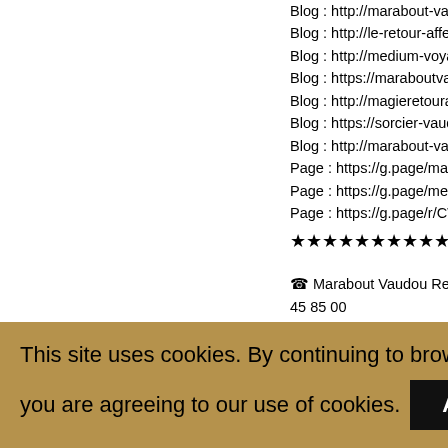Blog : http://marabout-vaudou-s…
Blog : http://le-retour-affectif.ov…
Blog : http://medium-voyant-ret…
Blog : https://maraboutvaudou…
Blog : http://magieretouraffectif…
Blog : https://sorcier-vaudou.or…
Blog : http://marabout-vaudou-r…
Page : https://g.page/marabout…
Page : https://g.page/medium-v…
Page : https://g.page/r/CW2lGr…
★★★★★★★★★★★★★★★★★
☎ Marabout Vaudou Retour Affe… 45 85 00
Le Grand Maître des Sorcier M…
- Spécialiste de Retour D'affect…
- Marabout Vaudou Retour Affe…
- Retour d'affection rapide et pu…
This site uses cookies. By continuing to browse the site, you are agreeing to our use of cookies.